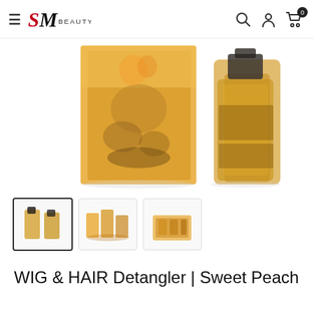SM Beauty — navigation header with hamburger menu, logo, search, account, and cart icons
[Figure (photo): Two golden/amber colored WIG & HAIR Detangler Sweet Peach product bottles/boxes on white background — one box shown at angle and one clear spray bottle]
[Figure (photo): Thumbnail image 1 (active/selected): two WIG & HAIR Detangler spray bottles]
[Figure (photo): Thumbnail image 2: multiple WIG & HAIR Detangler products arranged together]
[Figure (photo): Thumbnail image 3: WIG & HAIR Detangler products in box]
WIG & HAIR Detangler | Sweet Peach